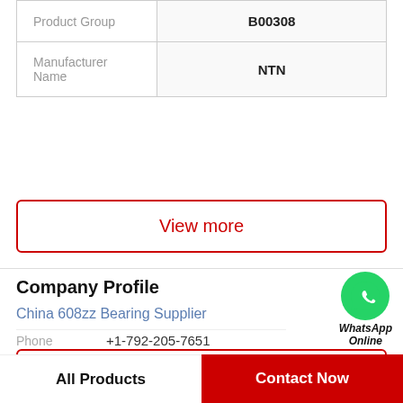| Product Group | B00308 |
| Manufacturer Name | NTN |
View more
Company Profile
China 608zz Bearing Supplier
Phone +1-792-205-7651
View more
All Products
Contact Now